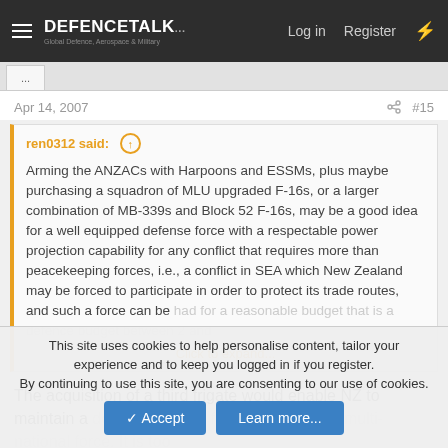DEFENCETALK — Log in  Register
Apr 14, 2007  #15
ren0312 said:
Arming the ANZACs with Harpoons and ESSMs, plus maybe purchasing a squadron of MLU upgraded F-16s, or a larger combination of MB-339s and Block 52 F-16s, may be a good idea for a well equipped defense force with a respectable power projection capability for any conflict that requires more than peacekeeping forces, i.e., a conflict in SEA which New Zealand may be forced to participate in order to protect its trade routes, and such a force can be had for a reasonable budget that is a defence budget between 2 and
Click to expand...
The acquisition of a third frigate would enable NZ to maintain a deployment of a frigate as part of a multi-national force. It is too
This site uses cookies to help personalise content, tailor your experience and to keep you logged in if you register.
By continuing to use this site, you are consenting to our use of cookies.